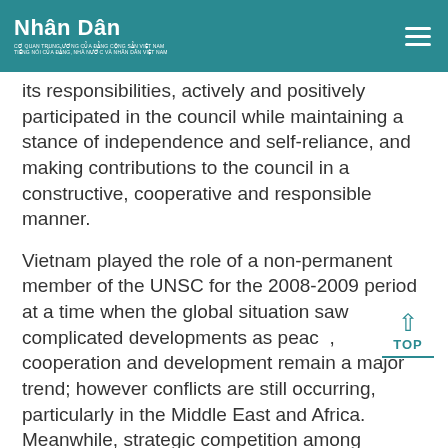Nhân Dân
its responsibilities, actively and positively participated in the council while maintaining a stance of independence and self-reliance, and making contributions to the council in a constructive, cooperative and responsible manner.
Vietnam played the role of a non-permanent member of the UNSC for the 2008-2009 period at a time when the global situation saw complicated developments as peace, cooperation and development remain a major trend; however conflicts are still occurring, particularly in the Middle East and Africa. Meanwhile, strategic competition among powers has made the situation in